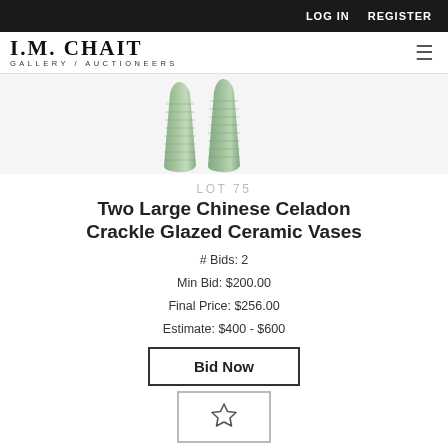LOG IN   REGISTER
[Figure (logo): I.M. CHAIT GALLERY / AUCTIONEERS logo]
[Figure (photo): Two large Chinese celadon crackle glazed ceramic vases, sage green color, tall tapered form with ribbed texture, photographed on white background]
LOT 75
Two Large Chinese Celadon Crackle Glazed Ceramic Vases
# Bids: 2
Min Bid: $200.00
Final Price: $256.00
Estimate: $400 - $600
Bid Now
[Figure (other): Watchlist star icon button]